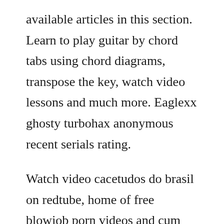available articles in this section. Learn to play guitar by chord tabs using chord diagrams, transpose the key, watch video lessons and much more. Eaglexx ghosty turbohax anonymous recent serials rating.
Watch video cacetudos do brasil on redtube, home of free blowjob porn videos and cum shot sex movies online. Ive read all around everything, source code available, forums, but i cannot get my code to work. Youtube downloader download youtube videos with free flv. Now its easier than ever with this